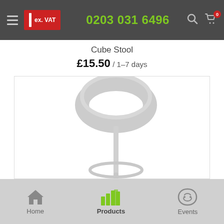ex. VAT | 0203 031 6496
Cube Stool
£15.50 / 1–7 days
[Figure (photo): White modern bar stool with oval ring-shaped seat and slim chrome pole, with round chrome footrest ring at base]
Home | Products | Events